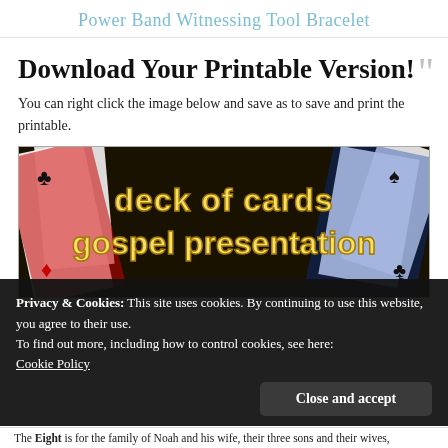Power Band Witnessing Tool Bracelet
Download Your Printable Version!
You can right click the image below and save as to save and print the printable.
[Figure (illustration): Deck of Cards Gospel Presentation image — playing cards background with bold yellow text reading 'deck of cards gospel presentation']
Privacy & Cookies: This site uses cookies. By continuing to use this website, you agree to their use.
To find out more, including how to control cookies, see here:
Cookie Policy
Close and accept
The Eight is for the family of Noah and his wife, their three sons and their wives,